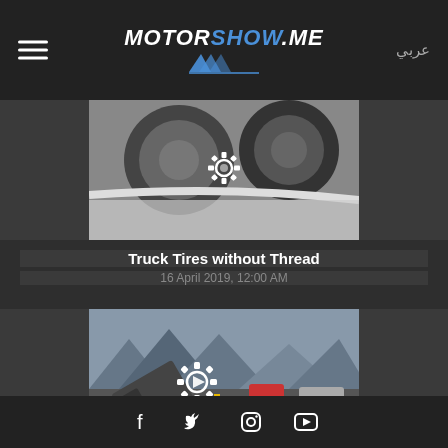MOTORSHOW.ME | عربي
[Figure (photo): Close-up view of a truck's worn tires without tread, seen from a car dashboard perspective]
Truck Tires without Thread
16 April 2019, 12:00 AM
[Figure (photo): Overturned truck on a mountain road with cars lined up, video thumbnail with play button]
Trucks Overtaking Inside Tunnel
18 August 2016, 12:00 AM
Social media icons: Facebook, Twitter, Instagram, YouTube